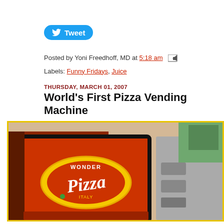[Figure (other): Twitter Tweet button with bird logo]
Posted by Yoni Freedhoff, MD at 5:18 am [email icon]
Labels: Funny Fridays, Juice
THURSDAY, MARCH 01, 2007
World's First Pizza Vending Machine
[Figure (photo): Photo of a Wonder Pizza vending machine with orange branding and a logo reading 'Wonder Pizza'. The machine has a grey dispensing panel on the right side. A poster or artwork is partially visible in the background.]